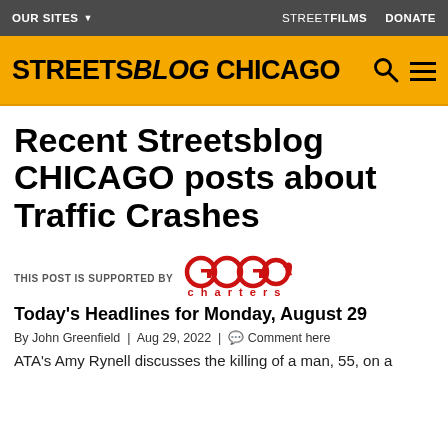OUR SITES | STREETFILMS DONATE
[Figure (logo): Streetsblog Chicago logo on yellow background with search and menu icons]
Recent Streetsblog CHICAGO posts about Traffic Crashes
[Figure (logo): GOGO Charters logo in red]
THIS POST IS SUPPORTED BY
Today's Headlines for Monday, August 29
By John Greenfield | Aug 29, 2022 | Comment here
ATA's Amy Rynell discusses the killing of a man, 55, on a